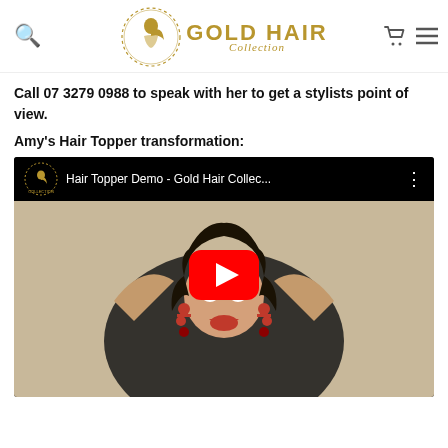Gold Hair Collection — navigation header with search, logo, cart, and menu icons
Call 07 3279 0988 to speak with her to get a stylists point of view.
Amy's Hair Topper transformation:
[Figure (screenshot): YouTube video embed showing 'Hair Topper Demo - Gold Hair Collec...' with a thumbnail of a woman with dark hair raising her hands, wearing red dangling earrings, with a red YouTube play button overlay.]